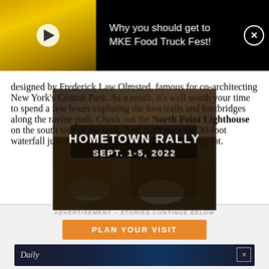[Figure (screenshot): Top video ad banner with yellow food truck video thumbnail showing play button, text 'Why you should get to MKE Food Truck Fest!' on black background with close X button]
designed by Frederick Law Olmsted, famous for co-architecting New York's Central Park. As a result, it's well worth your time to spend a few hours exploring the foot trails and footbridges along the ravine path. Check out the North Point Lighthouse on the south side of the park. And don't miss the 30-foot waterfall just south of the Lake Park Bistro parking lot.
[Figure (photo): Overlay advertisement for Hometown Rally Sept. 1-5, 2022 with dark semi-transparent overlay showing motorcycles and event signage in background]
[Figure (screenshot): Bottom advertisement area with 'ADVERTISEMENT - STORIES CONTINUE BELOW' label, orange 'PLAN YOUR VISIT' button, and a dark blue strip image with italic text]